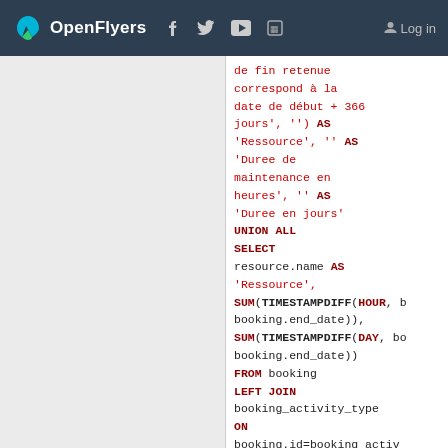OpenFlyers — Log in
[Figure (screenshot): SQL code block showing a query fragment with UNION ALL SELECT, SUM(TIMESTAMPDIFF(HOUR, ..., booking.end_date)), SUM(TIMESTAMPDIFF(DAY, ..., booking.end_date)), FROM booking LEFT JOIN booking_activity_type ON booking.id=booking_activ... LEFT JOIN activity_type ON activity_type.id=booking... LEFT JOIN]
de fin retenue correspond à la date de début + 366 jours', '') AS 'Ressource', '' AS 'Duree de maintenance en heures', '' AS 'Duree en jours' UNION ALL SELECT resource.name AS 'Ressource', SUM(TIMESTAMPDIFF(HOUR, b... booking.end_date)), SUM(TIMESTAMPDIFF(DAY, bo... booking.end_date)) FROM booking LEFT JOIN booking_activity_type ON booking.id=booking_activ... LEFT JOIN activity_type ON activity_type.id=booking... LEFT JOIN